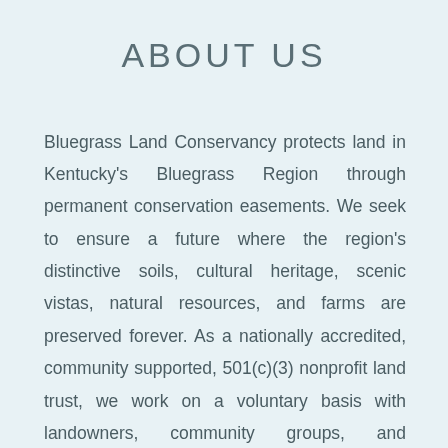ABOUT US
Bluegrass Land Conservancy protects land in Kentucky's Bluegrass Region through permanent conservation easements. We seek to ensure a future where the region's distinctive soils, cultural heritage, scenic vistas, natural resources, and farms are preserved forever. As a nationally accredited, community supported, 501(c)(3) nonprofit land trust, we work on a voluntary basis with landowners, community groups, and municipalities to encourage the preservation of land for agricultural viability, natural habitat, rural